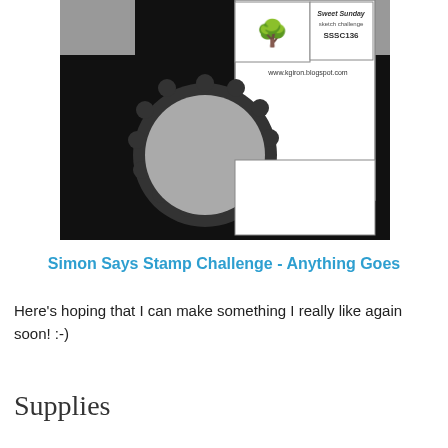[Figure (illustration): A sketch challenge layout diagram showing a card sketch. Black background with gray rectangles at top corners and a large scalloped circle element at lower left. Contains 'Sweet Sunday sketch challenge SSSC136' label and 'www.kgiron.blogspot.com' URL in a bordered white area.]
Simon Says Stamp Challenge - Anything Goes
Here's hoping that I can make something I really like again soon!  :-)
Supplies